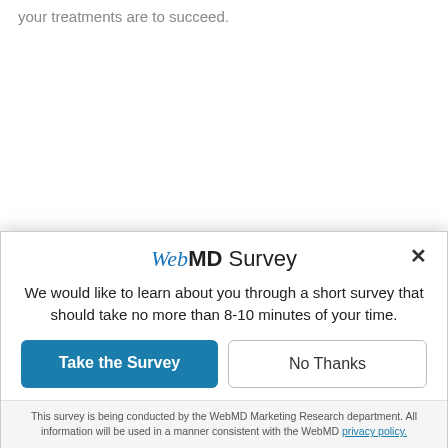your treatments are to succeed.
WebMD Survey
We would like to learn about you through a short survey that should take no more than 8-10 minutes of your time.
Take the Survey
No Thanks
This survey is being conducted by the WebMD Marketing Research department. All information will be used in a manner consistent with the WebMD privacy policy.